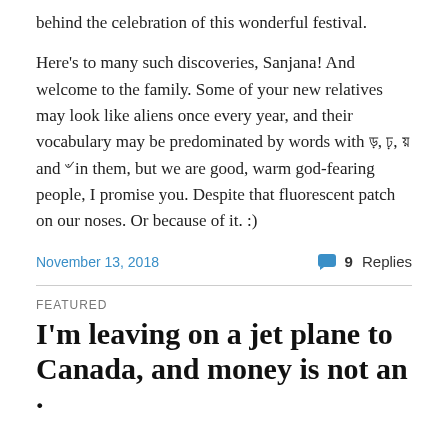behind the celebration of this wonderful festival.
Here's to many such discoveries, Sanjana! And welcome to the family. Some of your new relatives may look like aliens once every year, and their vocabulary may be predominated by words with ড়, ঢ়, য় and ৺ in them, but we are good, warm god-fearing people, I promise you. Despite that fluorescent patch on our noses. Or because of it. :)
November 13, 2018
💬 9 Replies
FEATURED
I'm leaving on a jet plane to Canada, and money is not an ·